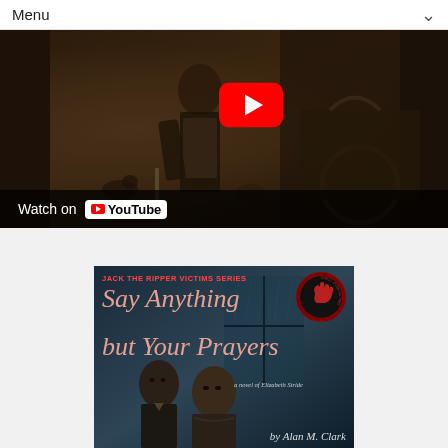Menu
[Figure (screenshot): YouTube video thumbnail showing a sepia-toned Victorian-era scene with a figure in an apron. A red YouTube play button is visible in the upper center. At the bottom is a 'Watch on YouTube' bar with white text and YouTube logo.]
[Figure (illustration): Book cover for 'Say Anything but Your Prayers' from the Jack the Ripper Victims Series by Alan M. Clark. Shows two Victorian-era figures (a man and a woman) against a dark background with a window. Includes a circular 'Horror That Happened' badge in the upper right corner. Subtitle reads 'a novel of Elizabeth Stride'.]